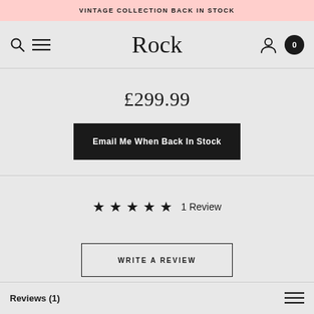VINTAGE COLLECTION BACK IN STOCK
Rock
£299.99
Email Me When Back In Stock
★ ★ ★ ★ ★  1 Review
WRITE A REVIEW
Reviews (1)